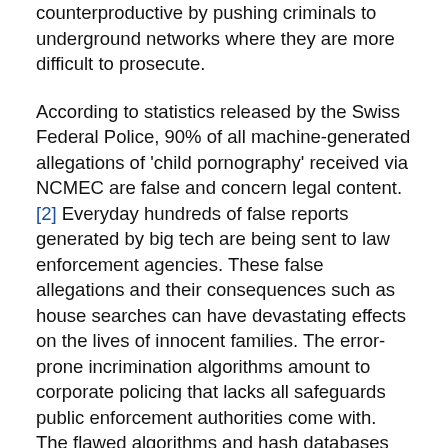counterproductive by pushing criminals to underground networks where they are more difficult to prosecute.
According to statistics released by the Swiss Federal Police, 90% of all machine-generated allegations of 'child pornography' received via NCMEC are false and concern legal content.[2] Everyday hundreds of false reports generated by big tech are being sent to law enforcement agencies. These false allegations and their consequences such as house searches can have devastating effects on the lives of innocent families. The error-prone incrimination algorithms amount to corporate policing that lacks all safeguards public enforcement authorities come with. The flawed algorithms and hash databases are out of public control. NCMEC reports also frequently result in the criminalization of children, for example for sexting.
Generally monitoring and screening all private conversations inhibits safe end-to-end encryption and has